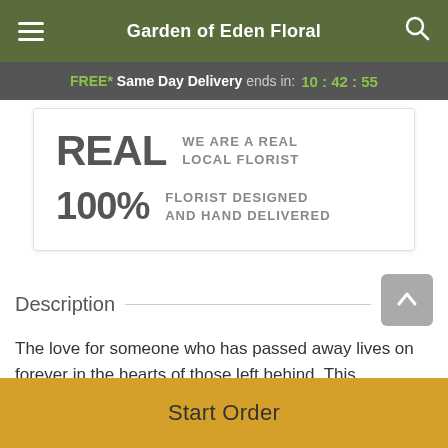Garden of Eden Floral
FREE* Same Day Delivery ends in: 10:42:55
[Figure (infographic): Card with two rows: 'REAL — WE ARE A REAL LOCAL FLORIST' and '100% — FLORIST DESIGNED AND HAND DELIVERED']
Description
The love for someone who has passed away lives on forever in the hearts of those left behind. This sentiment is
Start Order